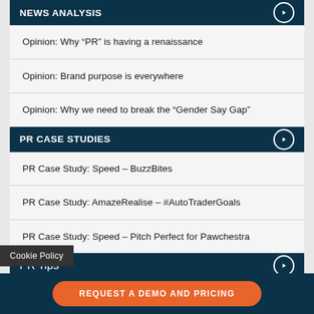NEWS ANALYSIS
Opinion: Why “PR” is having a renaissance
Opinion: Brand purpose is everywhere
Opinion: Why we need to break the “Gender Say Gap”
PR CASE STUDIES
PR Case Study: Speed – BuzzBites
PR Case Study: AmazeRealise – #AutoTraderGoals
PR Case Study: Speed – Pitch Perfect for Pawchestra
PR TIPS
Opinion: How challenger agencies can…
Cookie Policy
REQUEST A DEMO AND PRICING